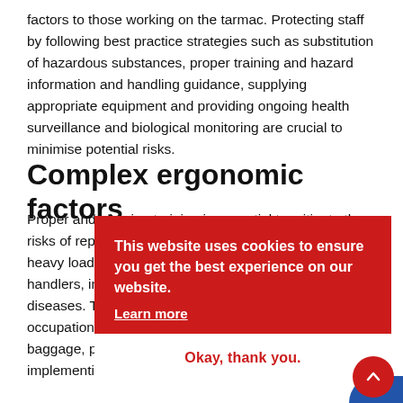factors to those working on the tarmac. Protecting staff by following best practice strategies such as substitution of hazardous substances, proper training and hazard information and handling guidance, supplying appropriate equipment and providing ongoing health surveillance and biological monitoring are crucial to minimise potential risks.
Complex ergonomic factors
Proper and ongoing training is essential to mitigate the risks of repetitive bodies in awkward positions, handling heavy loads, and working in confined spaces. Baggage handlers, in particular, are at risk of musculoskeletal diseases. There are guidelines to minimise these occupational problems, such as using belt loaders for baggage, providing safe handling techniques training, implementing task rotation between employees, providing suitable handrails and...
[Figure (other): Cookie consent overlay on red background. Text reads: 'This website uses cookies to ensure you get the best experience on our website. Learn more' with an 'Okay, thank you.' button in white box below.]